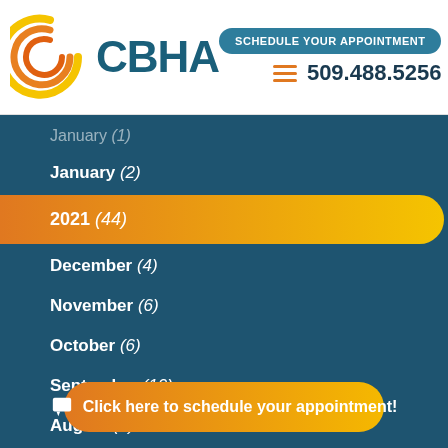[Figure (logo): CBHA logo with circular arc design in orange/yellow and teal text]
SCHEDULE YOUR APPOINTMENT
509.488.5256
January (2)
2021 (44)
December (4)
November (6)
October (6)
September (10)
August (2)
Click here to schedule your appointment!